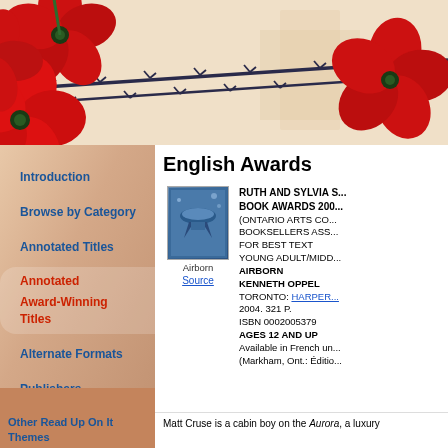[Figure (illustration): Top banner with red poppies and dark barbed wire on a beige/cream background, decorative artwork spanning the full page width]
Introduction
Browse by Category
Annotated Titles
Annotated Award-Winning Titles
Alternate Formats
Publishers
Order a Free Kit
English Awards
RUTH AND SYLVIA S... BOOK AWARDS 200... (ONTARIO ARTS CO... BOOKSELLERS ASS... FOR BEST TEXT YOUNG ADULT/MIDD... AIRBORN KENNETH OPPEL TORONTO: HARPER... 2004. 321 P. ISBN 0002005379 AGES 12 AND UP Available in French un... (Markham, Ont.: Éditio...
Airborn
Source
Matt Cruse is a cabin boy on the Aurora, a luxury
Other Read Up On It Themes